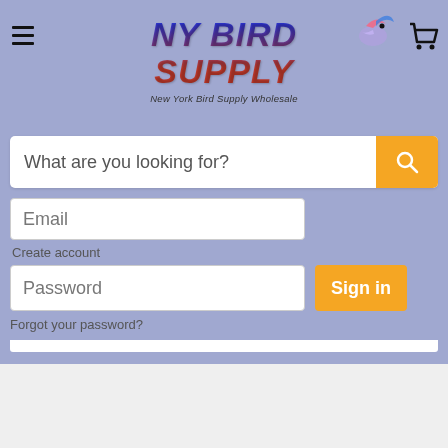[Figure (logo): NY Bird Supply logo with stylized text and bird graphic, with hamburger menu and cart icon]
What are you looking for?
Email
Create account
Password
Sign in
Forgot your password?
Out of Stock